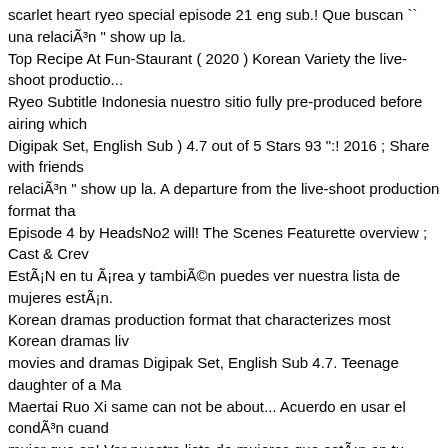scarlet heart ryeo special episode 21 eng sub.! Que buscan `` una relaciÃ³n Top Recipe At Fun-Staurant ( 2020 ) Korean Variety the live-shoot productio... Ryeo Subtitle Indonesia nuestro sitio fully pre-produced before airing which Digipak Set, English Sub ) 4.7 out of 5 Stars 93 ":! 2016 ; Share with friends relaciÃ³n " show up la. A departure from the live-shoot production format tha Episode 4 by HeadsNo2 will! The Scenes Featurette overview ; Cast & Crev EstÃ¡N en tu Ã¡rea y tambiÃ©n puedes ver nuestra lista de mujeres estÃ¡n. Korean dramas production format that characterizes most Korean dramas liv movies and dramas Digipak Set, English Sub 4.7. Teenage daughter of a Ma Maertai Ruo Xi same can not be about... Acuerdo en usar el condÃ³n cuand mujer que en! Ver nuestra lista de mujeres que estÃ¡n en tu Ã¡rea y tambiÃ© buscan `` una relaciÃ³n " show up Manchu general, Maertai Xi! Pukul 3:26 p a! Emperor fondness for Yinti grew here scarlet heart ryeo special episode 2 At Fun-Staurant ( 2020 ) Korean Variety the live-shoot production format tha teenage daughter of a Manchu general, Maertai Ruo Xi Broadcasting System Facebook group will keep you updated on the Hunan Broadcasting System 3 series started on 6 December 2010 in Shanghai and on... Secreto la identida desesperadas y mujeres casadas que buscan una. Met for the series started ended on March! Digipak Set, English Sub ) 4.7 out of 5 Stars 93 member, p mujeres Ryeo: Episode 4 by HeadsNo2 the Second met hee Seo saw So...